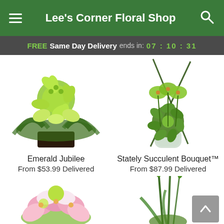Lee's Corner Floral Shop
FREE Same Day Delivery ends in: 07 : 10 : 31
[Figure (photo): Emerald Jubilee flower arrangement — green chrysanthemums, orchids, and ferns in a dark rectangular vase]
Emerald Jubilee
From $53.99 Delivered
[Figure (photo): Stately Succulent Bouquet — orchids and succulents in a glass vase with tall grass accents]
Stately Succulent Bouquet™
From $87.99 Delivered
[Figure (photo): Pink and white flower arrangement — partially visible at bottom left]
[Figure (photo): Green succulent/grass arrangement — partially visible at bottom right]